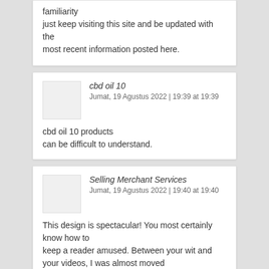familiarity
just keep visiting this site and be updated with the
most recent information posted here.
cbd oil 10
Jumat, 19 Agustus 2022 | 19:39 at 19:39
cbd oil 10 products
can be difficult to understand.
Selling Merchant Services
Jumat, 19 Agustus 2022 | 19:40 at 19:40
This design is spectacular! You most certainly know how to
keep a reader amused. Between your wit and your videos, I was almost moved
to start my own blog (well, almost...
HaHa!) Excellent job.
I really enjoyed what you had to say, and